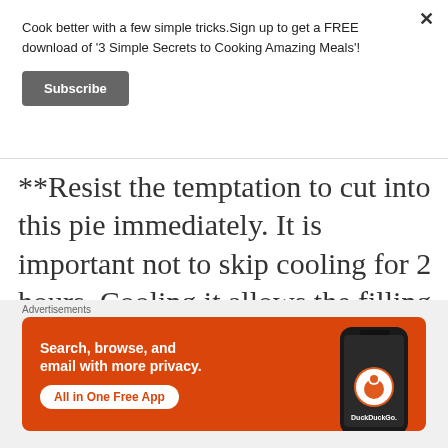Cook better with a few simple tricks.Sign up to get a FREE download of '3 Simple Secrets to Cooking Amazing Meals'!
Subscribe
**Resist the temptation to cut into this pie immediately. It is important not to skip cooling for 2 hours. Cooling it allows the filling to thicken.
[Figure (screenshot): DuckDuckGo advertisement banner with orange background showing 'Search, browse, and email with more privacy. All in One Free App' with a phone graphic and DuckDuckGo logo.]
Advertisements